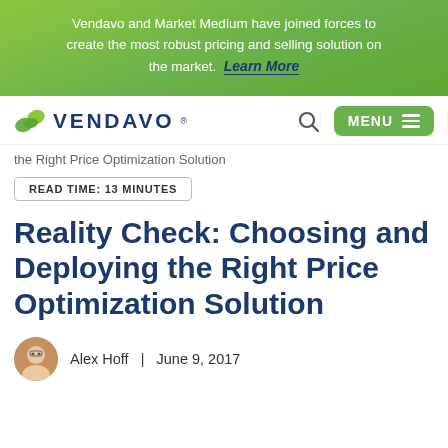Vendavo and Market Medium have joined forces to create the most robust pricing and selling solution on the market. Learn More
[Figure (logo): Vendavo logo with green leaf icon and dark blue VENDAVO text, with search icon and green MENU button]
the Right Price Optimization Solution
READ TIME: 13 MINUTES
Reality Check: Choosing and Deploying the Right Price Optimization Solution
Alex Hoff  |  June 9, 2017